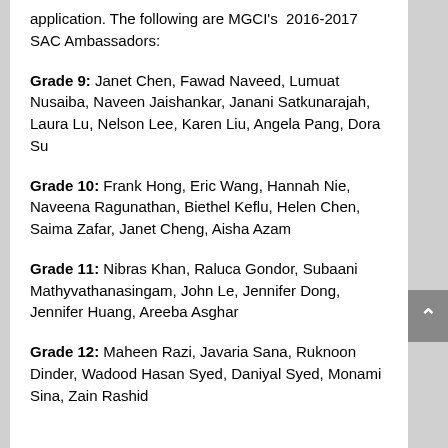application. The following are MGCI's 2016-2017 SAC Ambassadors:
Grade 9: Janet Chen, Fawad Naveed, Lumuat Nusaiba, Naveen Jaishankar, Janani Satkunarajah, Laura Lu, Nelson Lee, Karen Liu, Angela Pang, Dora Su
Grade 10: Frank Hong, Eric Wang, Hannah Nie, Naveena Ragunathan, Biethel Keflu, Helen Chen, Saima Zafar, Janet Cheng, Aisha Azam
Grade 11: Nibras Khan, Raluca Gondor, Subaani Mathyvathanasingam, John Le, Jennifer Dong, Jennifer Huang, Areeba Asghar
Grade 12: Maheen Razi, Javaria Sana, Ruknoon Dinder, Wadood Hasan Syed, Daniyal Syed, Monami Sina, Zain Rashid